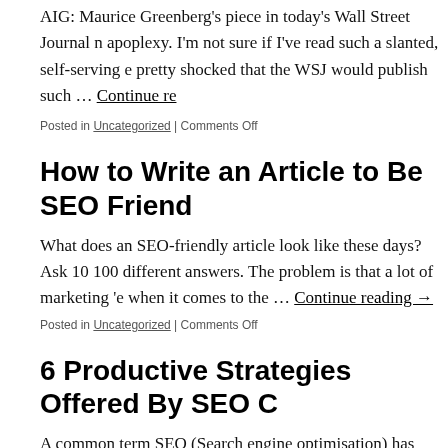AIG: Maurice Greenberg's piece in today's Wall Street Journal … apoplexy. I'm not sure if I've read such a slanted, self-serving e… pretty shocked that the WSJ would publish such … Continue re…
Posted in Uncategorized | Comments Off
How to Write an Article to Be SEO Friend…
What does an SEO-friendly article look like these days? Ask 10… 100 different answers. The problem is that a lot of marketing 'e… when it comes to the … Continue reading →
Posted in Uncategorized | Comments Off
6 Productive Strategies Offered By SEO C…
A common term SEO (Search engine optimisation) has spread o… has become the talk of leading businesses today. This particular…